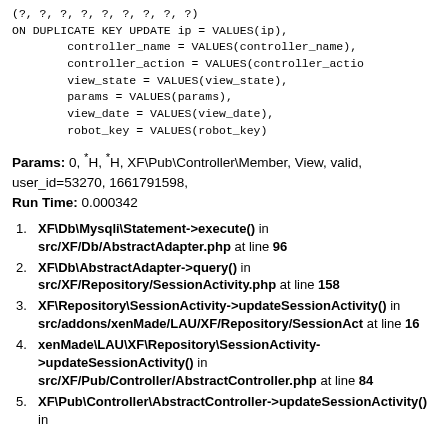(?, ?, ?, ?, ?, ?, ?, ?, ?)
ON DUPLICATE KEY UPDATE ip = VALUES(ip),
        controller_name = VALUES(controller_name),
        controller_action = VALUES(controller_action),
        view_state = VALUES(view_state),
        params = VALUES(params),
        view_date = VALUES(view_date),
        robot_key = VALUES(robot_key)
Params: 0, *H, *H, XF\Pub\Controller\Member, View, valid, user_id=53270, 1661791598,
Run Time: 0.000342
XF\Db\Mysqli\Statement->execute() in src/XF/Db/AbstractAdapter.php at line 96
XF\Db\AbstractAdapter->query() in src/XF/Repository/SessionActivity.php at line 158
XF\Repository\SessionActivity->updateSessionActivity() in src/addons/xenMade/LAU/XF/Repository/SessionAct at line 16
xenMade\LAU\XF\Repository\SessionActivity->updateSessionActivity() in src/XF/Pub/Controller/AbstractController.php at line 84
XF\Pub\Controller\AbstractController->updateSessionActivity() in